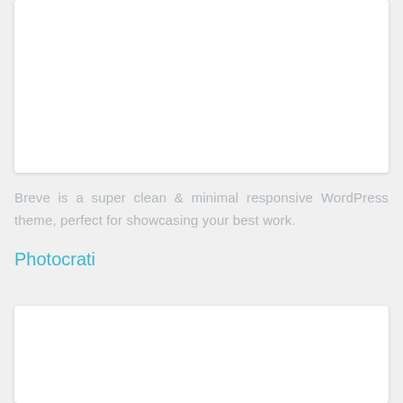[Figure (other): White card/panel at top of page (partially visible), light gray background]
Breve is a super clean & minimal responsive WordPress theme, perfect for showcasing your best work.
Photocrati
[Figure (other): White card/panel at bottom of page (partially visible), light gray background]